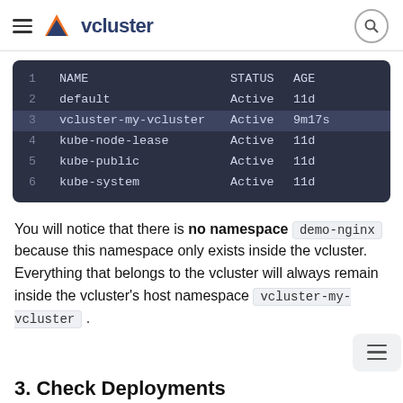vcluster
[Figure (screenshot): Terminal output showing kubectl get namespaces with 6 rows: NAME/STATUS/AGE header, default/Active/11d, vcluster-my-vcluster/Active/9m17s (highlighted), kube-node-lease/Active/11d, kube-public/Active/11d, kube-system/Active/11d]
You will notice that there is no namespace demo-nginx because this namespace only exists inside the vcluster. Everything that belongs to the vcluster will always remain inside the vcluster's host namespace vcluster-my-vcluster .
3. Check Deployments